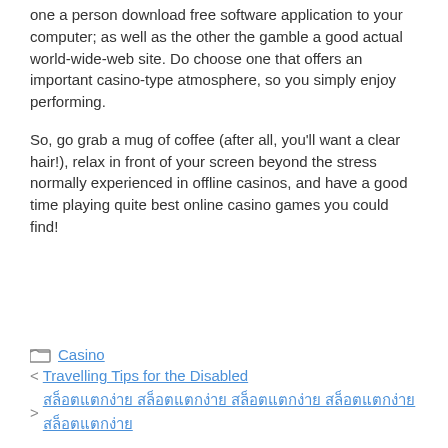one a person download free software application to your computer; as well as the other the gamble a good actual world-wide-web site. Do choose one that offers an important casino-type atmosphere, so you simply enjoy performing.
So, go grab a mug of coffee (after all, you'll want a clear hair!), relax in front of your screen beyond the stress normally experienced in offline casinos, and have a good time playing quite best online casino games you could find!
Casino
Travelling Tips for the Disabled
สล็อตออนไลน์ฟรี สล็อตออนไลน์ฟรี สล็อตออนไลน์ฟรี